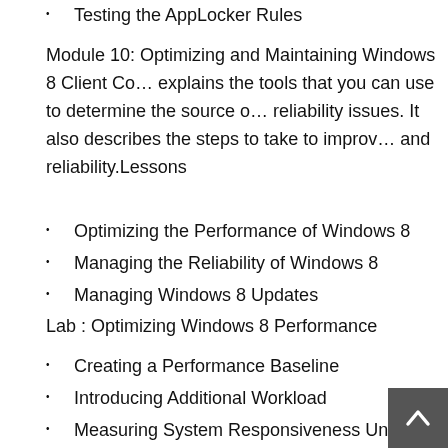Testing the AppLocker Rules
Module 10: Optimizing and Maintaining Windows 8 Client Co… explains the tools that you can use to determine the source o… reliability issues. It also describes the steps to take to improv… and reliability.Lessons
Optimizing the Performance of Windows 8
Managing the Reliability of Windows 8
Managing Windows 8 Updates
Lab : Optimizing Windows 8 Performance
Creating a Performance Baseline
Introducing Additional Workload
Measuring System Responsiveness Under Load
Lab : Maintaining Windows Updates